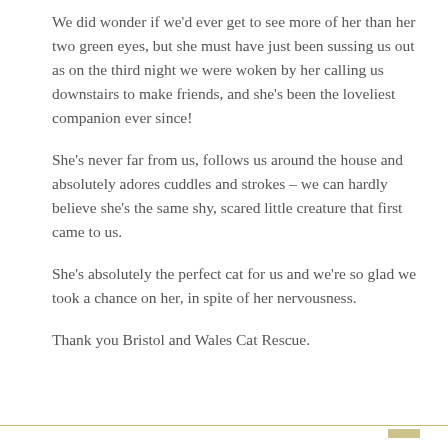We did wonder if we'd ever get to see more of her than her two green eyes, but she must have just been sussing us out as on the third night we were woken by her calling us downstairs to make friends, and she's been the loveliest companion ever since!
She's never far from us, follows us around the house and absolutely adores cuddles and strokes – we can hardly believe she's the same shy, scared little creature that first came to us.
She's absolutely the perfect cat for us and we're so glad we took a chance on her, in spite of her nervousness.
Thank you Bristol and Wales Cat Rescue.